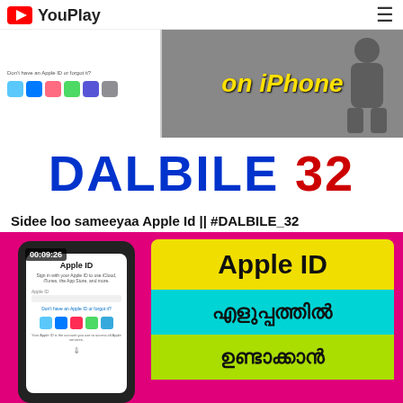YouPlay
[Figure (screenshot): Banner image showing Apple ID setup screen on left and 'on iPhone' text on right with dark background]
[Figure (logo): DALBILE 32 logo with DALBILE in dark blue and 32 in red, bold large font]
Sidee loo sameeyaa Apple Id || #DALBILE_32
[Figure (screenshot): Video thumbnail showing Apple ID setup screen on phone (left) and panels with text 'Apple ID', malayalam text meaning 'easily' and 'create' on colored backgrounds (yellow, cyan, green). Timestamp 00:09:26 shown.]